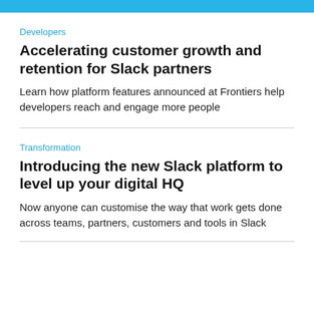Developers
Accelerating customer growth and retention for Slack partners
Learn how platform features announced at Frontiers help developers reach and engage more people
Transformation
Introducing the new Slack platform to level up your digital HQ
Now anyone can customise the way that work gets done across teams, partners, customers and tools in Slack